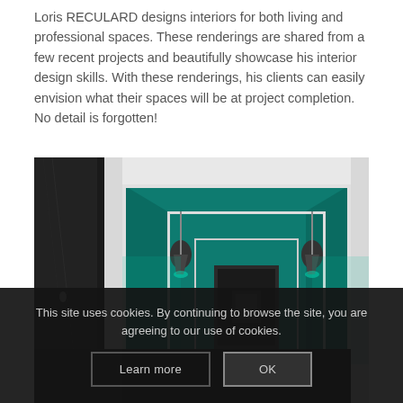Loris RECULARD designs interiors for both living and professional spaces. These renderings are shared from a few recent projects and beautifully showcase his interior design skills. With these renderings, his clients can easily envision what their spaces will be at project completion. No detail is forgotten!
[Figure (photo): Interior design rendering of a corridor with teal/turquoise accent walls and ceiling-mounted lighting fixtures, showing perspective depth with multiple doorways receding into the background.]
This site uses cookies. By continuing to browse the site, you are agreeing to our use of cookies.